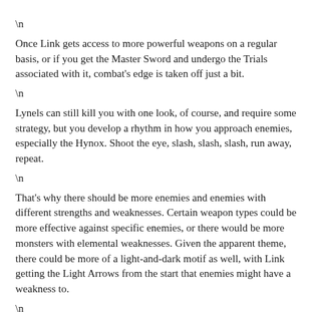\n
Once Link gets access to more powerful weapons on a regular basis, or if you get the Master Sword and undergo the Trials associated with it, combat's edge is taken off just a bit.
\n
Lynels can still kill you with one look, of course, and require some strategy, but you develop a rhythm in how you approach enemies, especially the Hynox. Shoot the eye, slash, slash, slash, run away, repeat.
\n
That's why there should be more enemies and enemies with different strengths and weaknesses. Certain weapon types could be more effective against specific enemies, or there would be more monsters with elemental weaknesses. Given the apparent theme, there could be more of a light-and-dark motif as well, with Link getting the Light Arrows from the start that enemies might have a weakness to.
\n